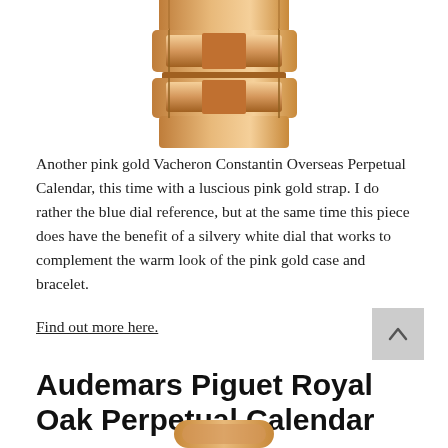[Figure (photo): Top portion of a pink gold watch bracelet/clasp on white background, cropped, showing the linked bracelet from a close angle]
Another pink gold Vacheron Constantin Overseas Perpetual Calendar, this time with a luscious pink gold strap. I do rather the blue dial reference, but at the same time this piece does have the benefit of a silvery white dial that works to complement the warm look of the pink gold case and bracelet.
Find out more here.
Audemars Piguet Royal Oak Perpetual Calendar
[Figure (photo): Bottom portion of a watch, partially cropped at the bottom of the page]